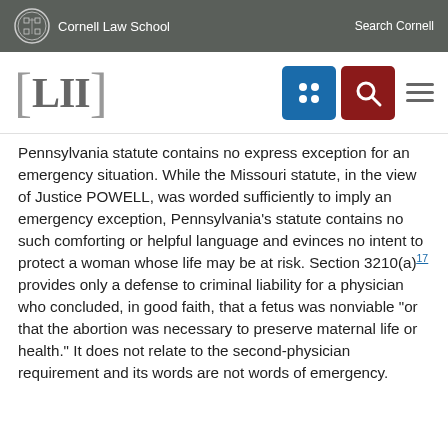Cornell Law School   Search Cornell
[Figure (logo): LII Legal Information Institute logo with navigation icons (grid icon in blue, search icon in red, hamburger menu)]
Pennsylvania statute contains no express exception for an emergency situation. While the Missouri statute, in the view of Justice POWELL, was worded sufficiently to imply an emergency exception, Pennsylvania's statute contains no such comforting or helpful language and evinces no intent to protect a woman whose life may be at risk. Section 3210(a)17 provides only a defense to criminal liability for a physician who concluded, in good faith, that a fetus was nonviable "or that the abortion was necessary to preserve maternal life or health." It does not relate to the second-physician requirement and its words are not words of emergency.